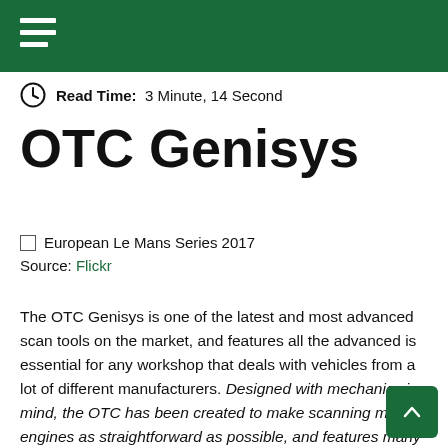menu / hamburger icon
Read Time: 3 Minute, 14 Second
OTC Genisys
European Le Mans Series 2017
Source: Flickr
The OTC Genisys is one of the latest and most advanced scan tools on the market, and features all the advanced is essential for any workshop that deals with vehicles from a lot of different manufacturers. Designed with mechanics in mind, the OTC has been created to make scanning modern engines as straightforward as possible, and features many time saving advances to improve efficiency in all areas of the process.